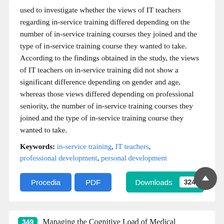used to investigate whether the views of IT teachers regarding in-service training differed depending on the number of in-service training courses they joined and the type of in-service training course they wanted to take. According to the findings obtained in the study, the views of IT teachers on in-service training did not show a significant difference depending on gender and age, whereas those views differed depending on professional seniority, the number of in-service training courses they joined and the type of in-service training course they wanted to take.
Keywords: in-service training, IT teachers, professional development, personal development
Procedia | PDF | Downloads 324
349 Managing the Cognitive Load of Medical Students during Anatomy Lectures